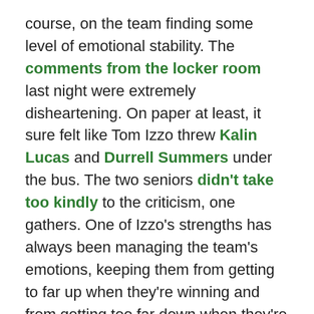course, on the team finding some level of emotional stability.  The comments from the locker room last night were extremely disheartening.  On paper at least, it sure felt like Tom Izzo threw Kalin Lucas and Durrell Summers under the bus.  The two seniors didn't take too kindly to the criticism, one gathers.  One of Izzo's strengths has always been managing the team's emotions, keeping them from getting to far up when they're winning and from getting too far down when they're losing.  Last night, it would appear he let his own emotions get the best of him, which is disappointing.  If you're going to call out individual players, do it behind closed doors.
Whether Izzo can repair that damage and then address the tactical and personnel issues haunting this team is entirely an open question.  (My amateur